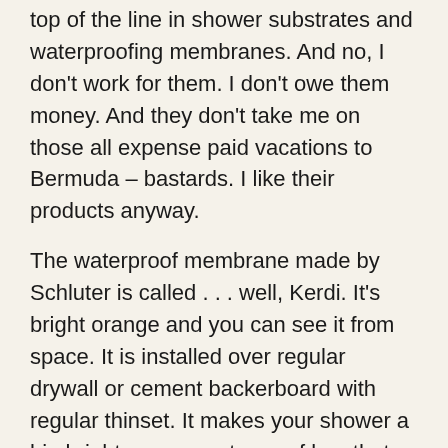top of the line in shower substrates and waterproofing membranes. And no, I don't work for them. I don't owe them money. And they don't take me on those all expense paid vacations to Bermuda – bastards. I like their products anyway.
The waterproof membrane made by Schluter is called . . . well, Kerdi. It's bright orange and you can see it from space. It is installed over regular drywall or cement backerboard with regular thinset. It makes your shower a big bright orange waterproof box that glows in the dark. Okay, it doesn't glow in the dark.
The material is difficult to describe with words, it's kind of like a fleece-lined rubber(ish) membrane. I like it for two reasons: It is the best available and it happens to be the easiest, least work intensive option (once you are used to working with it). While there is a fairly large learning curve